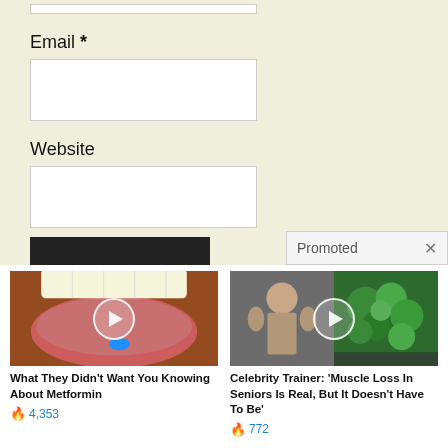Email *
[Figure (screenshot): Empty text input box for Email field]
Website
[Figure (screenshot): Empty text input box for Website field]
[Figure (screenshot): Submit button (dark/black)]
Promoted X
[Figure (photo): Close-up of mouth with tongue out and blue pill, video play button overlay — ad for Metformin]
What They Didn't Want You Knowing About Metformin
4,353
[Figure (photo): Split image of muscular man flexing and broccoli in pan, video play button overlay — ad for muscle loss in seniors]
Celebrity Trainer: 'Muscle Loss In Seniors Is Real, But It Doesn't Have To Be'
772